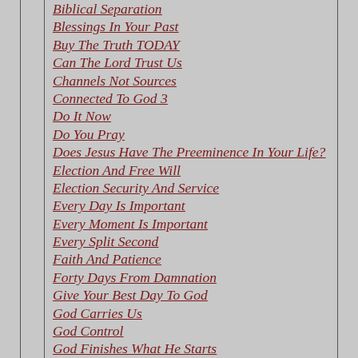Biblical Separation
Blessings In Your Past
Buy The Truth TODAY
Can The Lord Trust Us
Channels Not Sources
Connected To God 3
Do It Now
Do You Pray
Does Jesus Have The Preeminence In Your Life?
Election And Free Will
Election Security And Service
Every Day Is Important
Every Moment Is Important
Every Split Second
Faith And Patience
Forty Days From Damnation
Give Your Best Day To God
God Carries Us
God Control
God Finishes What He Starts
God Goes Before Us
God Has A Plan For You
God Has A Plan For Your Life
God Has Purposes For Our Lives
God Knows The Best Time For